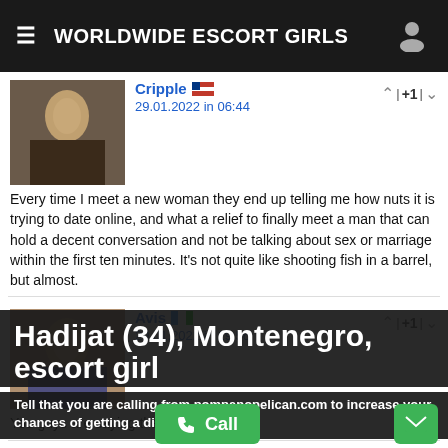WORLDWIDE ESCORT GIRLS
Cripple
29.01.2022 in 06:44
+1
Every time I meet a new woman they end up telling me how nuts it is trying to date online, and what a relief to finally meet a man that can hold a decent conversation and not be talking about sex or marriage within the first ten minutes. It's not quite like shooting fish in a barrel, but almost.
Avis
29.01.2022 in 19:56
+1
You guys are saying there's also.
Rasion
30.01.2022 in...
+1
and 2) text an unknown number - as above really. I left it for a while but it kept coming into my mind. So one day I decided I needed to get to the bottom of it for my own piece of mind. I rang the number first, by witholding my number & a female answered and I just hung up. (I did this because if it had been a man's voice, I would have been more at ease). I also checked the phone bills and saw the number occured...
Hadijat (34), Montenegro, escort girl
Tell that you are calling from pompanopelican.com to increase your chances of getting a discount.